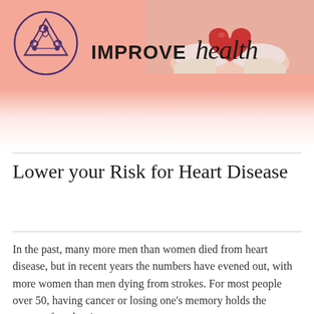[Figure (illustration): Header banner with salmon/coral pink gradient background. A decorative Celtic triskelion logo in a circle on the left, and large text 'IMPROVE health' (IMPROVE bold sans-serif, health in italic script). A photo of hands holding a red heart is partially visible in the top right corner.]
Lower your Risk for Heart Disease
In the past, many more men than women died from heart disease, but in recent years the numbers have evened out, with more women than men dying from strokes. For most people over 50, having cancer or losing one's memory holds the greatest fear, but in